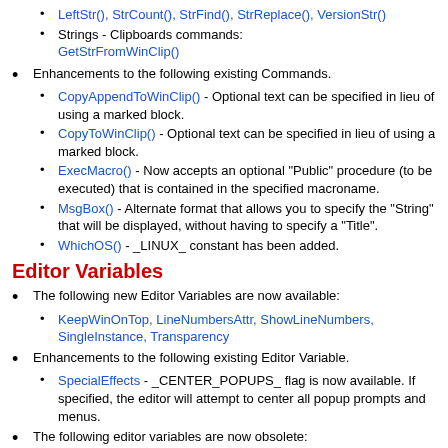LeftStr(), StrCount(), StrFind(), StrReplace(), VersionStr()
Strings - Clipboards commands: GetStrFromWinClip()
Enhancements to the following existing Commands.
CopyAppendToWinClip() - Optional text can be specified in lieu of using a marked block.
CopyToWinClip() - Optional text can be specified in lieu of using a marked block.
ExecMacro() - Now accepts an optional "Public" procedure (to be executed) that is contained in the specified macroname.
MsgBox() - Alternate format that allows you to specify the "String" that will be displayed, without having to specify a "Title".
WhichOS() - _LINUX_ constant has been added.
Editor Variables
The following new Editor Variables are now available:
KeepWinOnTop, LineNumbersAttr, ShowLineNumbers, SingleInstance, Transparency
Enhancements to the following existing Editor Variable.
SpecialEffects - _CENTER_POPUPS_ flag is now available. If specified, the editor will attempt to center all popup prompts and menus.
The following editor variables are now obsolete: